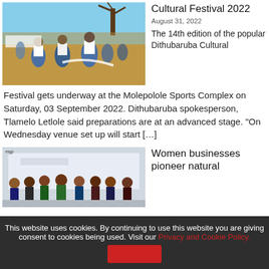[Figure (photo): Women in blue and white traditional dress dancing outdoors at a cultural festival, dry savanna background with trees]
Cultural Festival 2022
August 31, 2022
The 14th edition of the popular Dithubaruba Cultural Festival gets underway at the Molepolole Sports Complex on Saturday, 03 September 2022. Dithubaruba spokesperson, Tlamelo Letlole said preparations are at an advanced stage. “On Wednesday venue set up will start […]
[Figure (photo): Group of people standing in a row smiling in front of a white banner backdrop]
Women businesses pioneer natural
This website uses cookies. By continuing to use this website you are giving consent to cookies being used. Visit our Privacy and Cookie Policy.